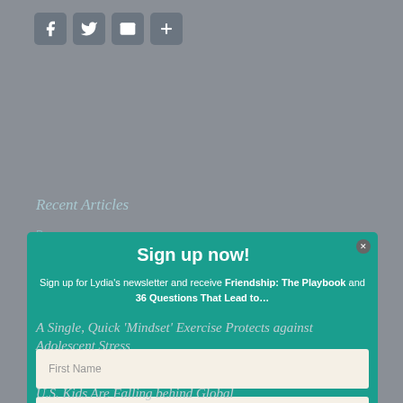[Figure (other): Social media sharing icons: Facebook, Twitter, Email, Share (plus sign), rendered as rounded square icon buttons in gray-blue]
Recent Articles
[Figure (photo): Woman with blonde hair sitting in front of a bookshelf, wearing a light gray shirt and dark jeans, smiling at camera]
[Figure (other): Sign up modal overlay with teal/green background containing title 'Sign up now!', newsletter description mentioning Friendship: The Playbook and 36 Questions That Lead to..., and three input fields for First Name, Last Name, Email Address with a dark blue circular submit arrow button]
A Single, Quick ‘Mindset’ Exercise Protects against Adolescent Stress
U.S. Kids Are Falling behind Global